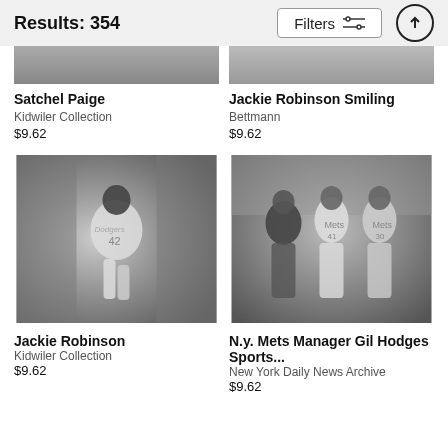Results: 354
Filters
Satchel Paige
Kidwiler Collection
$9.62
Jackie Robinson Smiling
Bettmann
$9.62
[Figure (photo): Black and white photo of Jackie Robinson in Dodgers #42 uniform walking through a tunnel]
Jackie Robinson
Kidwiler Collection
$9.62
[Figure (photo): Black and white photo of N.Y. Mets Manager Gil Hodges with Mets players #41 and #30]
N.y. Mets Manager Gil Hodges Sports...
New York Daily News Archive
$9.62